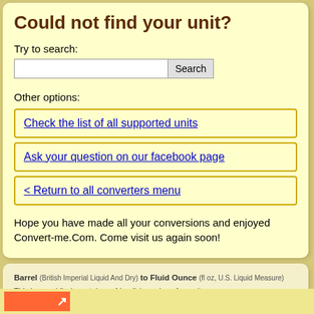Could not find your unit?
Try to search:
Other options:
Check the list of all supported units
Ask your question on our facebook page
< Return to all converters menu
Hope you have made all your conversions and enjoyed Convert-me.Com. Come visit us again soon!
Barrel (British Imperial Liquid And Dry) to Fluid Ounce (fl oz, U.S. Liquid Measure)
This is a mobile (smartphone friendly) version of our site.
Copyright © 1996-2019 by Sergey Gershtein, Anna Gershtein. Unauthorized duplication prohibited. All rights reserved.
Our privacy policy